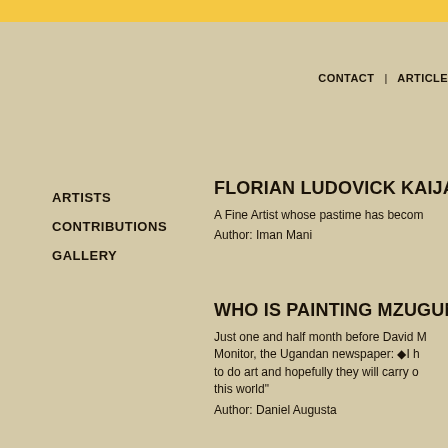CONTACT | ARTICLES
ARTISTS
CONTRIBUTIONS
GALLERY
FLORIAN LUDOVICK KAIJA
A Fine Artist whose pastime has becom...
Author: Iman Mani
WHO IS PAINTING MZUGUNO
Just one and half month before David M... Monitor, the Ugandan newspaper: ◆I h... to do art and hopefully they will carry o... this world"
Author: Daniel Augusta